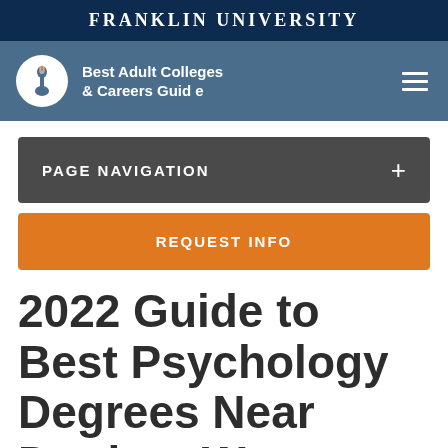FRANKLIN UNIVERSITY
[Figure (logo): Franklin University Best Adult Colleges & Careers Guide logo with torch icon in white circle, on blue navigation bar with hamburger menu]
PAGE NAVIGATION +
REQUEST INFO
2022 Guide to Best Psychology Degrees Near Dunbar, West